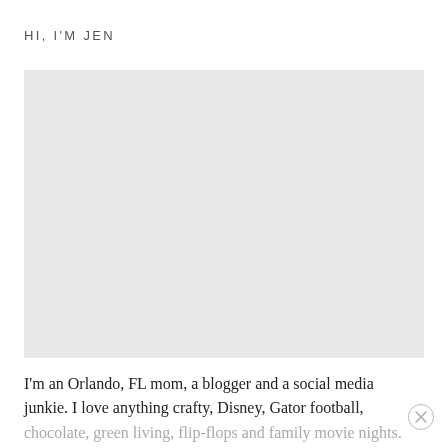HI, I'M JEN
[Figure (photo): Photo placeholder area (light gray rectangle representing an image of Jen)]
I'm an Orlando, FL mom, a blogger and a social media junkie. I love anything crafty, Disney, Gator football, chocolate, green living, flip-flops and family movie nights.